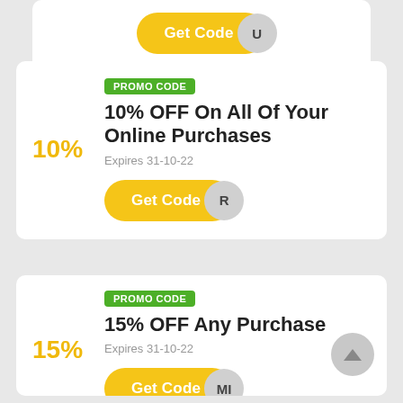[Figure (other): Partial coupon card at top with yellow Get Code button partially visible, letter U visible on right side]
PROMO CODE
10% OFF On All Of Your Online Purchases
Expires 31-10-22
Get Code R
PROMO CODE
15% OFF Any Purchase
Expires 31-10-22
Get Code MI